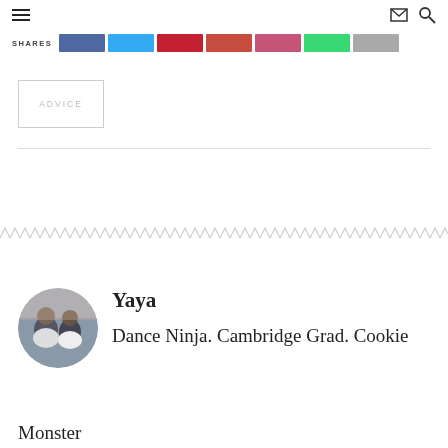≡  ✉ 🔍
SHARES
ADVICE
Yaya
Dance Ninja. Cambridge Grad. Cookie Monster